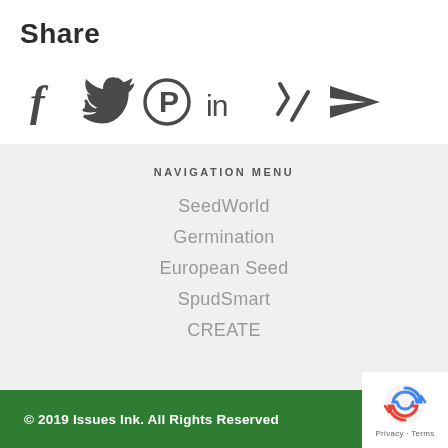Share
[Figure (infographic): Social media share icons: Facebook (f), Twitter (bird), Pinterest (P circle), LinkedIn (in), Xing (X-like), and a send/email arrow icon, all in dark gray.]
NAVIGATION MENU
SeedWorld
Germination
European Seed
SpudSmart
CREATE
© 2019 Issues Ink. All Rights Reserved